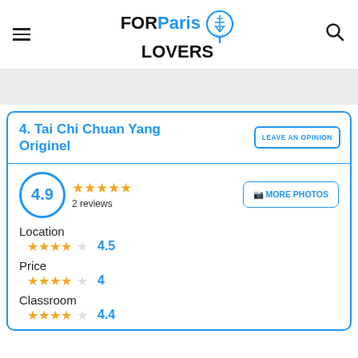[Figure (logo): FOR Paris LOVERS logo with Eiffel Tower pin icon]
4. Tai Chi Chuan Yang Originel
LEAVE AN OPINION
4.9
2 reviews
MORE PHOTOS
Location
4.5
Price
4
Classroom
4.4